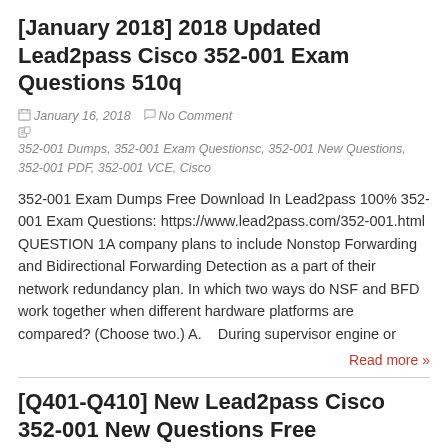[January 2018] 2018 Updated Lead2pass Cisco 352-001 Exam Questions 510q
January 16, 2018   No Comment   352-001 Dumps, 352-001 Exam Questionsc, 352-001 New Questions, 352-001 PDF, 352-001 VCE, Cisco
352-001 Exam Dumps Free Download In Lead2pass 100% 352-001 Exam Questions: https://www.lead2pass.com/352-001.html QUESTION 1A company plans to include Nonstop Forwarding and Bidirectional Forwarding Detection as a part of their network redundancy plan. In which two ways do NSF and BFD work together when different hardware platforms are compared? (Choose two.) A.    During supervisor engine or
Read more »
[Q401-Q410] New Lead2pass Cisco 352-001 New Questions Free